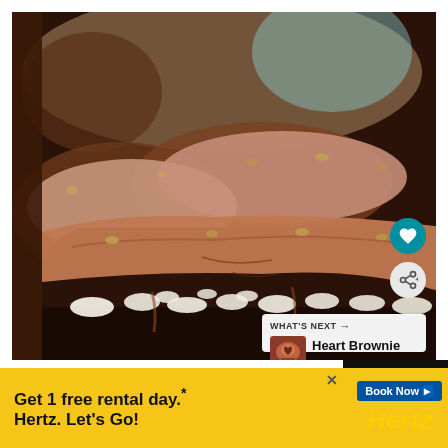[Figure (photo): Close-up photo of Mississippi mud brownies with chocolate frosting, marshmallows, and nuts, shown stacked and cut to reveal layers.]
WHAT'S NEXT → Heart Brownie Pops
Get 1 free rental day.* Hertz. Let's Go!
Book Now
Hertz